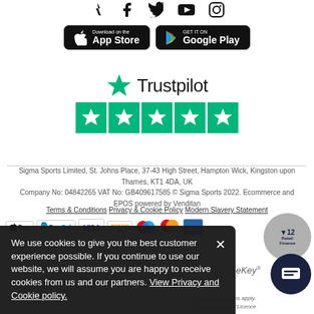[Figure (illustration): Social media icons row: Strava, Facebook, Twitter, YouTube, Instagram]
[Figure (illustration): App store download badges: Download on the App Store and GET IT ON Google Play]
[Figure (logo): Trustpilot logo with green star and five green star rating boxes]
Sigma Sports Limited, St. Johns Place, 37-43 High Street, Hampton Wick, Kingston upon Thames, KT1 4DA, UK
Company No: 04842265 VAT No: GB409617585 © Sigma Sports 2022. Ecommerce and EPOS powered by Venditan
Terms & Conditions  Privacy & Cookie Policy  Modern Slavery Statement
[Figure (illustration): Payment method logos: Apple Pay, PayPal, Visa, Amazon Pay, various card logos, V12 Retail Finance]
We use cookies to give you the best customer experience possible. If you continue to use our website, we will assume you are happy to receive cookies from us and our partners. View Privacy and Cookie policy.
ms and Conditions apply. acts as a broker "Licence